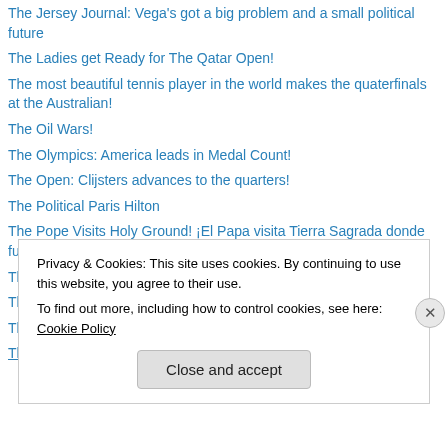The Jersey Journal: Vega's got a big problem and a small political future
The Ladies get Ready for The Qatar Open!
The most beautiful tennis player in the world makes the quaterfinals at the Australian!
The Oil Wars!
The Olympics: America leads in Medal Count!
The Open: Clijsters advances to the quarters!
The Political Paris Hilton
The Pope Visits Holy Ground! ¡El Papa visita Tierra Sagrada donde fueron asesinados más de 5,000 Inocentes!
The Power of Love!
The Real REAL Cuba: poverty, opression, fear, misery! Watch!
The Revitalization of Union City: A Vibrant Community
The Rightful Heir, the "Black Card", and the Reverend Donado
Privacy & Cookies: This site uses cookies. By continuing to use this website, you agree to their use.
To find out more, including how to control cookies, see here: Cookie Policy
Close and accept